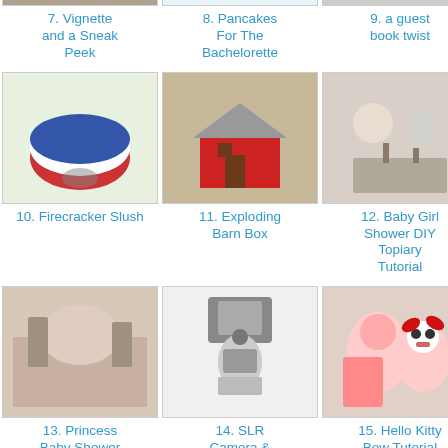[Figure (photo): Thumbnail image for item 7 - Vignette and a Sneak Peek]
7. Vignette and a Sneak Peek
[Figure (photo): Thumbnail image for item 8 - Pancakes For The Bachelorette]
8. Pancakes For The Bachelorette
[Figure (photo): Thumbnail image for item 9 - a guest book twist]
9. a guest book twist
[Figure (photo): Thumbnail image for item 10 - Firecracker Slush, red white blue layered drink]
10. Firecracker Slush
[Figure (photo): Thumbnail image for item 11 - Exploding Barn Box, red barn shaped box]
11. Exploding Barn Box
[Figure (photo): Thumbnail image for item 12 - Baby Girl Shower DIY Topiary Tutorial]
12. Baby Girl Shower DIY Topiary Tutorial
[Figure (photo): Thumbnail image for item 13 - Princess Baby Shower PreView]
13. Princess Baby Shower PreView
[Figure (photo): Thumbnail image for item 14 - SLR Camera & Acces. Buying Guide, photographer with camera]
14. SLR Camera & Acces. Buying Guide
[Figure (photo): Thumbnail image for item 15 - Hello Kitty Bow Tutorial, girl with hello kitty doll]
15. Hello Kitty Bow Tutorial
[Figure (photo): Thumbnail image row 4 col 1 - Garage Sale sign]
[Figure (photo): Thumbnail image row 4 col 2 - food dish]
[Figure (photo): Thumbnail image row 4 col 3 - flowers]